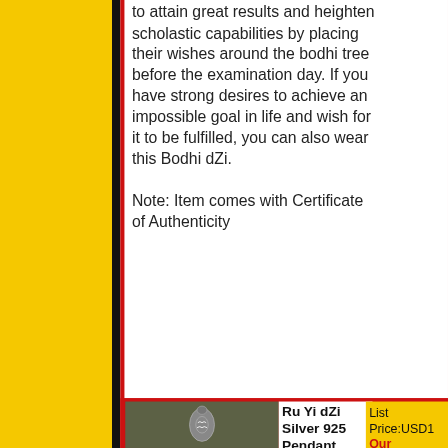to attain great results and heighten scholastic capabilities by placing their wishes around the bodhi tree before the examination day. If you have strong desires to achieve an impossible goal in life and wish for it to be fulfilled, you can also wear this Bodhi dZi.

Note: Item comes with Certificate of Authenticity
[Figure (photo): Product image of Ru Yi dZi Silver 925 Pendant showing a dZi bead pendant on dark background]
Ru Yi dZi Silver 925 Pendant
List Price:USD1 Our